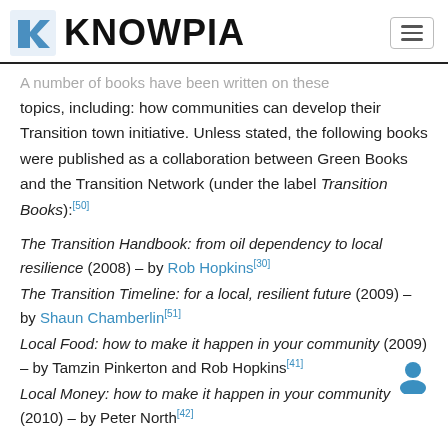KNOWPIA
A number of books have been written on these topics, including: how communities can develop their Transition town initiative. Unless stated, the following books were published as a collaboration between Green Books and the Transition Network (under the label Transition Books):[50]
The Transition Handbook: from oil dependency to local resilience (2008) – by Rob Hopkins[30]
The Transition Timeline: for a local, resilient future (2009) – by Shaun Chamberlin[51]
Local Food: how to make it happen in your community (2009) – by Tamzin Pinkerton and Rob Hopkins[41]
Local Money: how to make it happen in your community (2010) – by Peter North[42]